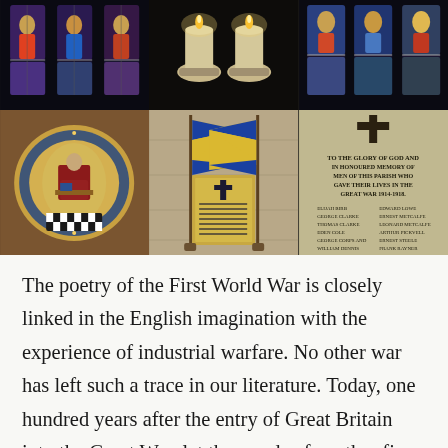[Figure (photo): A 2x3 grid of six photographs related to World War I memorials and church imagery. Top row: stained glass window, candles on a surface, another stained glass window. Bottom row: a heraldic circular plaque/seal, yellow military flags flanking a war memorial plaque, and a stone inscription reading 'To the Glory of God and in Honoured Memory of Men of This Parish Who Gave Their Lives in the Great War 1914-1918' with names listed below.]
The poetry of the First World War is closely linked in the English imagination with the experience of industrial warfare. No other war has left such a trace in our literature. Today, one hundred years after the entry of Great Britain into the Great War, let the words of another fine poet, Laurence Binyon, mark the day, as they have so often in